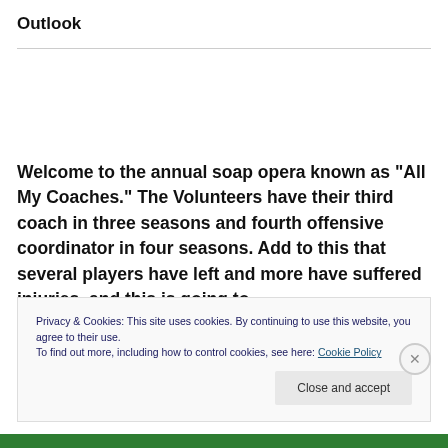Outlook
Welcome to the annual soap opera known as “All My Coaches.”  The Volunteers have their third coach in three seasons and fourth offensive coordinator in four seasons.  Add to this that several players have left and more have suffered injuries, and this is going to
Privacy & Cookies: This site uses cookies. By continuing to use this website, you agree to their use.
To find out more, including how to control cookies, see here: Cookie Policy
Close and accept